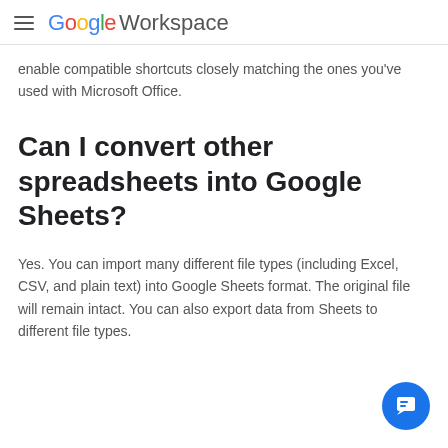Google Workspace
enable compatible shortcuts closely matching the ones you've used with Microsoft Office.
Can I convert other spreadsheets into Google Sheets?
Yes. You can import many different file types (including Excel, CSV, and plain text) into Google Sheets format. The original file will remain intact. You can also export data from Sheets to different file types.